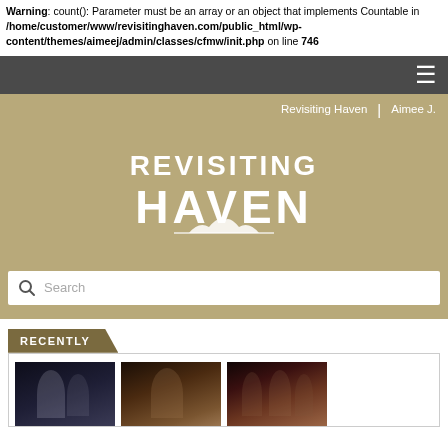Warning: count(): Parameter must be an array or an object that implements Countable in /home/customer/www/revisitinghaven.com/public_html/wp-content/themes/aimeej/admin/classes/cfmw/init.php on line 746
Revisiting Haven | Aimee J.
[Figure (logo): Revisiting Haven logo in white text on tan/khaki background]
Search
RECENTLY
[Figure (photo): Three thumbnail images from TV show Haven]